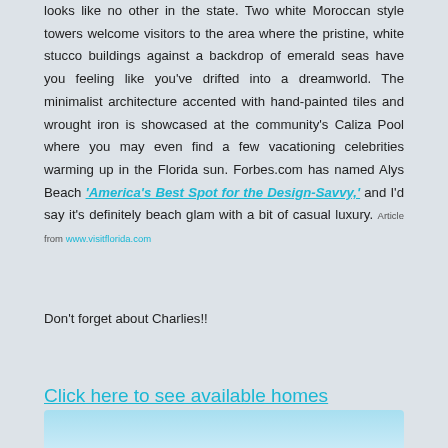looks like no other in the state. Two white Moroccan style towers welcome visitors to the area where the pristine, white stucco buildings against a backdrop of emerald seas have you feeling like you've drifted into a dreamworld. The minimalist architecture accented with hand-painted tiles and wrought iron is showcased at the community's Caliza Pool where you may even find a few vacationing celebrities warming up in the Florida sun. Forbes.com has named Alys Beach 'America's Best Spot for the Design-Savvy,' and I'd say it's definitely beach glam with a bit of casual luxury. Article from www.visitflorida.com
Don't forget about Charlies!!
Click here to see available homes
[Figure (photo): Bottom portion of an image visible at the bottom of the page, showing a light blue sky or water background]